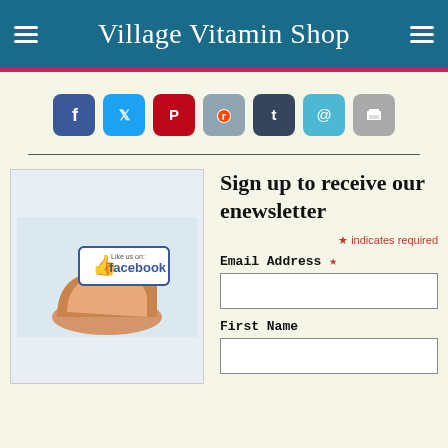Village Vitamin Shop
[Figure (infographic): Row of 7 social media icon buttons: Facebook (blue), Twitter (light blue), Pinterest (red), Reddit (grey-blue), Tumblr (dark blue-grey), Email (cyan), Print (grey)]
[Figure (illustration): A hand holding up a Facebook 'Like us on Facebook' badge button, displayed against a light blue-grey background box]
Sign up to receive our enewsletter
* indicates required
Email Address *
First Name